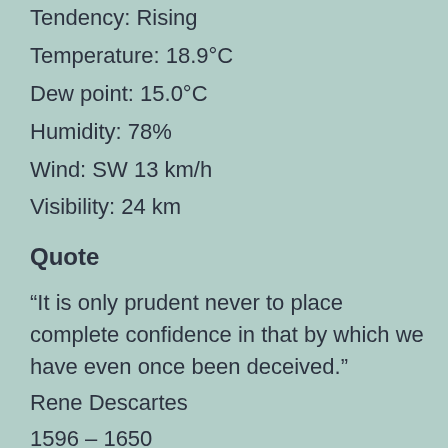Tendency: Rising
Temperature: 18.9°C
Dew point: 15.0°C
Humidity: 78%
Wind: SW 13 km/h
Visibility: 24 km
Quote
“It is only prudent never to place complete confidence in that by which we have even once been deceived.”
Rene Descartes
1596 – 1650